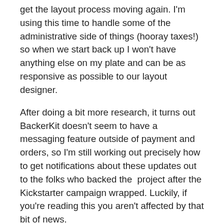get the layout process moving again. I'm using this time to handle some of the administrative side of things (hooray taxes!) so when we start back up I won't have anything else on my plate and can be as responsive as possible to our layout designer.
After doing a bit more research, it turns out BackerKit doesn't seem to have a messaging feature outside of payment and orders, so I'm still working out precisely how to get notifications about these updates out to the folks who backed the project after the Kickstarter campaign wrapped. Luckily, if you're reading this you aren't affected by that bit of news.
A few final words
This month, it's a simple message: protect trans kids. The lives of the trans people we know could be so much easier if gender-affirming care were readily available and they didn't have to fight to be accepted.
Stay safe, and see you next month,